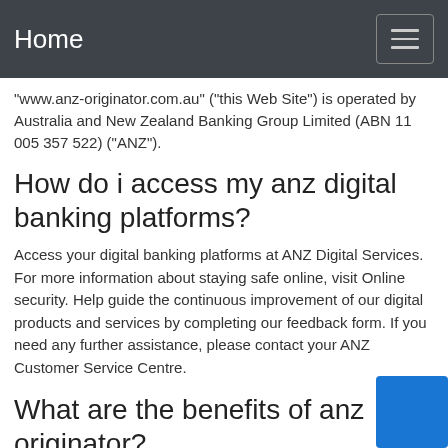Home
"www.anz-originator.com.au" ("this Web Site") is operated by Australia and New Zealand Banking Group Limited (ABN 11 005 357 522) ("ANZ").
How do i access my anz digital banking platforms?
Access your digital banking platforms at ANZ Digital Services. For more information about staying safe online, visit Online security. Help guide the continuous improvement of our digital products and services by completing our feedback form. If you need any further assistance, please contact your ANZ Customer Service Centre.
What are the benefits of anz originator?
It allows ANZ Originators to view the status of loan applications that they have submitted to ANZ Provide flexible